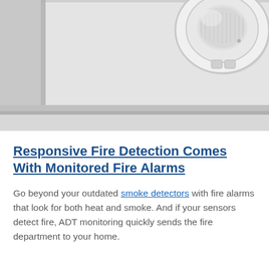[Figure (photo): Close-up photo of a white circular smoke/fire detector mounted on a white ceiling with molding visible in the background.]
Responsive Fire Detection Comes With Monitored Fire Alarms
Go beyond your outdated smoke detectors with fire alarms that look for both heat and smoke. And if your sensors detect fire, ADT monitoring quickly sends the fire department to your home.